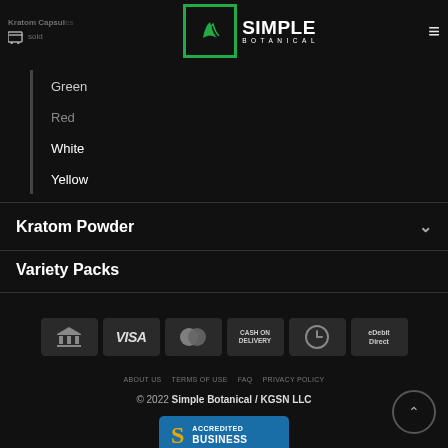Kratom Capsules (partial) | Simple Botanical logo | hamburger menu
Green
Red
White
Yellow
Kratom Powder
Variety Packs
[Figure (infographic): Payment method icons: bank/ACH, VISA, MasterCard, Cash on Delivery, digital payment, eDebit Direct]
ABOUT US   TERMS OF USE   FAQ   PRIVACY POLICY
© 2022 Simple Botanical / KGSN LLC
[Figure (logo): BBB Accredited Business badge]